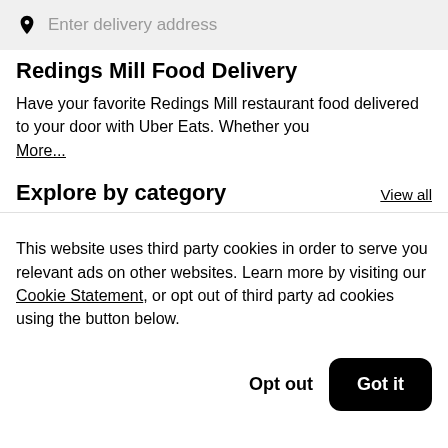Enter delivery address
Redings Mill Food Delivery
Have your favorite Redings Mill restaurant food delivered to your door with Uber Eats. Whether you
More...
Explore by category
View all
This website uses third party cookies in order to serve you relevant ads on other websites. Learn more by visiting our Cookie Statement, or opt out of third party ad cookies using the button below.
Opt out
Got it